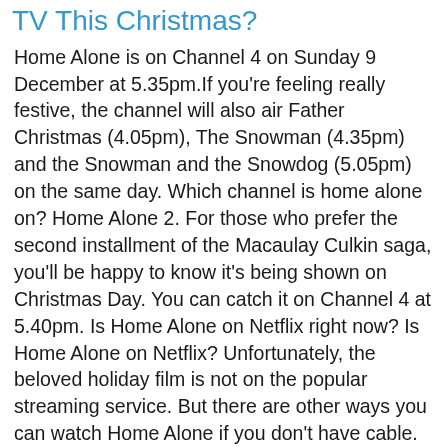TV This Christmas?
Home Alone is on Channel 4 on Sunday 9 December at 5.35pm.If you're feeling really festive, the channel will also air Father Christmas (4.05pm), The Snowman (4.35pm) and the Snowman and the Snowdog (5.05pm) on the same day. Which channel is home alone on? Home Alone 2. For those who prefer the second installment of the Macaulay Culkin saga, you'll be happy to know it's being shown on Christmas Day. You can catch it on Channel 4 at 5.40pm. Is Home Alone on Netflix right now? Is Home Alone on Netflix? Unfortunately, the beloved holiday film is not on the popular streaming service. But there are other ways you can watch Home Alone if you don't have cable. Home Alone is available to stream online through YouTube, Amazon Prime, iTunes, Google Play and Vudu. When it's a wonderful life will be on TV? This year, It's a